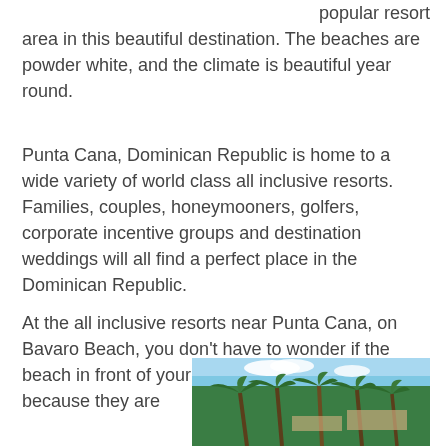popular resort area in this beautiful destination. The beaches are powder white, and the climate is beautiful year round.
Punta Cana, Dominican Republic is home to a wide variety of world class all inclusive resorts. Families, couples, honeymooners, golfers, corporate incentive groups and destination weddings will all find a perfect place in the Dominican Republic.
At the all inclusive resorts near Punta Cana, on Bavaro Beach, you don't have to wonder if the beach in front of your particular resort is great, because they are
[Figure (photo): Palm trees and resort buildings under a blue sky with clouds, likely at a Caribbean beach resort near Punta Cana.]